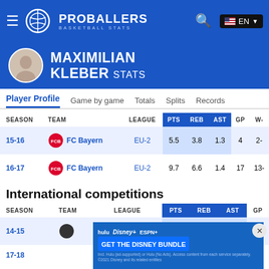PROBALLERS BASKETBALL STATS | EN
MAXIMILIAN KLEBER STATS
Player Profile | Game by game | Totals | Splits | Records
| SEASON | TEAM | LEAGUE | PTS | REB | AST | GP | W- |
| --- | --- | --- | --- | --- | --- | --- | --- |
| 15-16 | FC Bayern | EU-2 | 5.5 | 3.8 | 1.3 | 4 | 2- |
| 16-17 | FC Bayern | EU-2 | 9.7 | 6.6 | 1.4 | 17 | 13- |
International competitions
| SEASON | TEAM | LEAGUE | PTS | REB | AST | GP |
| --- | --- | --- | --- | --- | --- | --- |
| 14-15 |  | Eurobasket- |  |  |  | 5 |
| 17-18 |  |  |  |  |  | 2 |